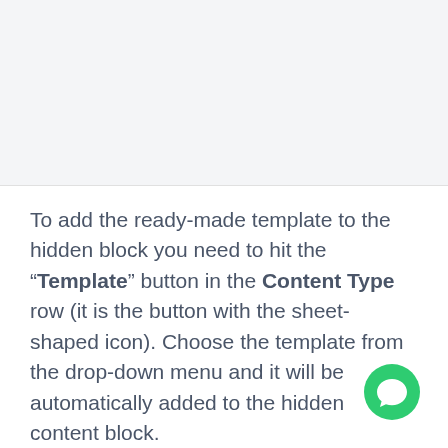[Figure (screenshot): Screenshot area showing a UI interface at the top of the page]
To add the ready-made template to the hidden block you need to hit the “Template” button in the Content Type row (it is the button with the sheet-shaped icon). Choose the template from the drop-down menu and it will be automatically added to the hidden content block.
[Figure (illustration): Green circular chat/messaging button icon in the bottom right corner]